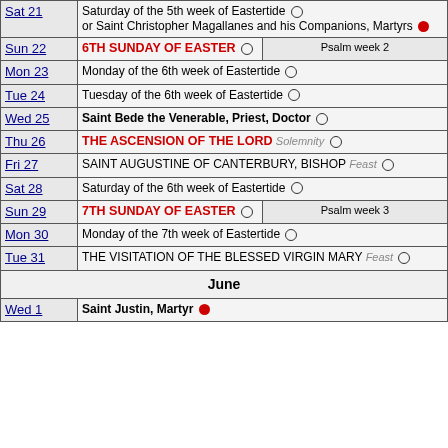| Day | Description | Psalm |
| --- | --- | --- |
| Sat 21 | Saturday of the 5th week of Eastertide ○ or Saint Christopher Magallanes and his Companions, Martyrs ● |  |
| Sun 22 | 6TH SUNDAY OF EASTER ○ | Psalm week 2 |
| Mon 23 | Monday of the 6th week of Eastertide ○ |  |
| Tue 24 | Tuesday of the 6th week of Eastertide ○ |  |
| Wed 25 | Saint Bede the Venerable, Priest, Doctor ○ |  |
| Thu 26 | THE ASCENSION OF THE LORD Solemnity ○ |  |
| Fri 27 | SAINT AUGUSTINE OF CANTERBURY, BISHOP Feast ○ |  |
| Sat 28 | Saturday of the 6th week of Eastertide ○ |  |
| Sun 29 | 7TH SUNDAY OF EASTER ○ | Psalm week 3 |
| Mon 30 | Monday of the 7th week of Eastertide ○ |  |
| Tue 31 | THE VISITATION OF THE BLESSED VIRGIN MARY Feast ○ |  |
| June |  |  |
| Wed 1 | Saint Justin, Martyr ● |  |